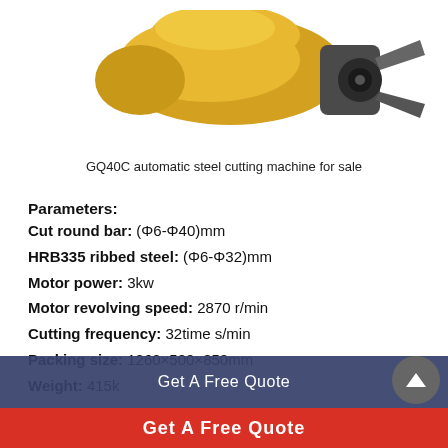[Figure (photo): GQ40C automatic steel cutting machine shown from side angle, machine body in yellow/gold color with dark grey mechanical components and cutting blades visible]
GQ40C automatic steel cutting machine for sale
Parameters:
Cut round bar: (Φ6-Φ40)mm
HRB335 ribbed steel: (Φ6-Φ32)mm
Motor power: 3kw
Motor revolving speed: 2870 r/min
Cutting frequency: 32time s/min
Packing size: 1260×500×850mm
Weight: 415k
Get A Free Quote
Get A Free Quote